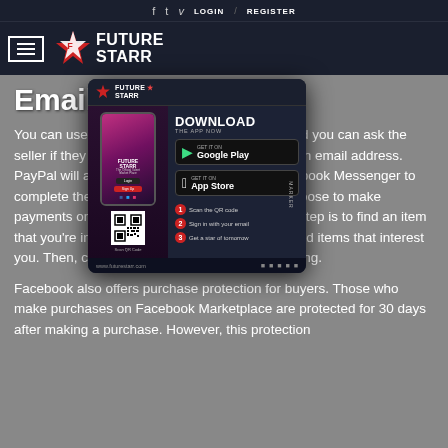f  t  v  LOGIN / REGISTER
[Figure (logo): Future Starr logo with hamburger menu icon and stylized star logo on dark navy background]
Email
You can use PayPal, Facebook Marketplace, and you can ask the seller if they accept PayPal to provide you with an email address. PayPal will automatically be added to your Facebook Messenger to complete the payment process. You can also choose to make payments online, through Messenger. The next step is to find an item that you're interested in. Select the categories and items that interest you. Then, click the "Buy Now" button on the listing.
[Figure (infographic): Future Starr app download advertisement popup showing phone mockup, Google Play and App Store buttons, QR code, and 3 steps: Scan the QR code, Sign in with your email, Get a star of tomorrow]
Facebook also offers purchase protection for buyers. Those who make purchases on Facebook Marketplace are protected for 30 days after making a purchase. However, this protection